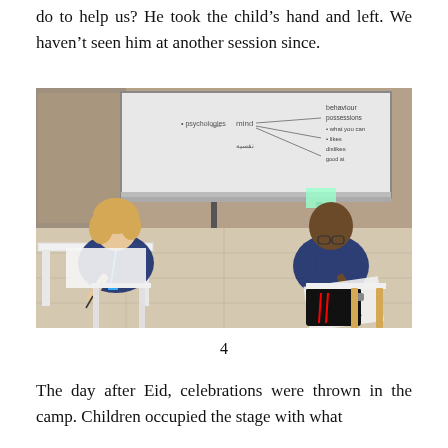do to help us? He took the child’s hand and left. We haven’t seen him at another session since.
[Figure (photo): Two people seated in chairs in a room with a whiteboard in the background. A woman with blonde hair wearing a navy blue top and lanyard sits at a white table on the left, writing on paper. A man in a dark blue athletic shirt and black track pants sits on the right, also writing on paper held on his lap. The whiteboard behind them has text and diagrams written on it.]
4
The day after Eid, celebrations were thrown in the camp. Children occupied the stage with what